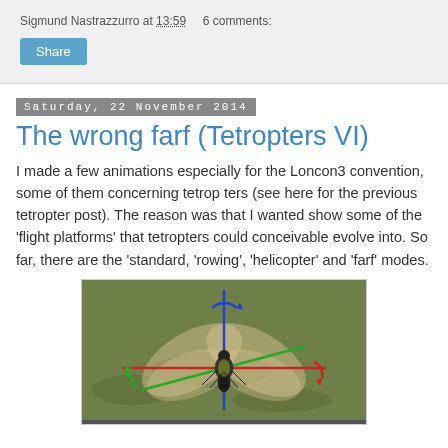Sigmund Nastrazzurro at 13:59   6 comments:
The wrong farf (Tetropters VI)
I made a few animations especially for the Loncon3 convention, some of them concerning tetrop ters (see here for the previous tetropter post). The reason was that I wanted show some of the 'flight platforms' that tetropters could conceivable evolve into. So far, there are the 'standard, 'rowing', 'helicopter' and 'farf' modes.
[Figure (photo): 3D rendered insect-like creature (tetropter) with four wings spread out, shown with colored coordinate axes: blue vertical axis, red and green horizontal axes, with rotation arrows in blue, red, and green indicating rotation directions. Background is a brownish-green ground texture.]